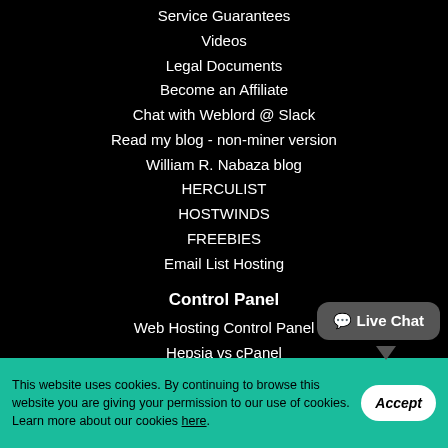Service Guarantees
Videos
Legal Documents
Become an Affiliate
Chat with Weblord @ Slack
Read my blog - non-miner version
William R. Nabaza blog
HERCULIST
HOSTWINDS
FREEBIES
Email List Hosting
Control Panel
Web Hosting Control Panel
Hepsia vs cPanel
Web Accelerators
This website uses cookies. By continuing to browse this website you are giving your permission to our use of cookies. Learn more about our cookies here.